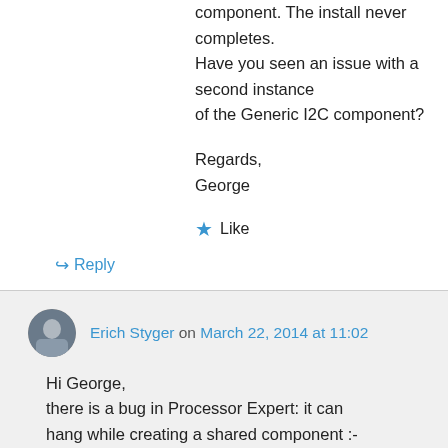component. The install never completes. Have you seen an issue with a second instance of the Generic I2C component?
Regards,
George
★ Like
↪ Reply
Erich Styger on March 22, 2014 at 11:02
Hi George,
there is a bug in Processor Expert: it can hang while creating a shared component :-(
. I have reported that to Freescale.
For some components it helps if you press